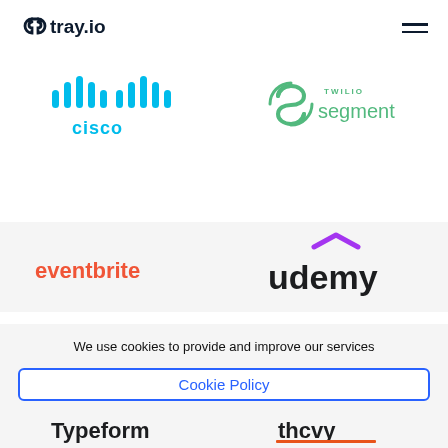[Figure (logo): tray.io logo in dark navy, top left header]
[Figure (logo): Hamburger menu icon top right]
[Figure (logo): Cisco logo in teal/cyan]
[Figure (logo): Twilio Segment logo in green]
[Figure (logo): Eventbrite logo in orange-red]
[Figure (logo): Udemy logo in black with purple accent hat]
We use cookies to provide and improve our services
Cookie Policy
Accept & Close
[Figure (logo): Typeform logo in black, partially visible]
[Figure (logo): thcvy/Thrive logo partially visible]